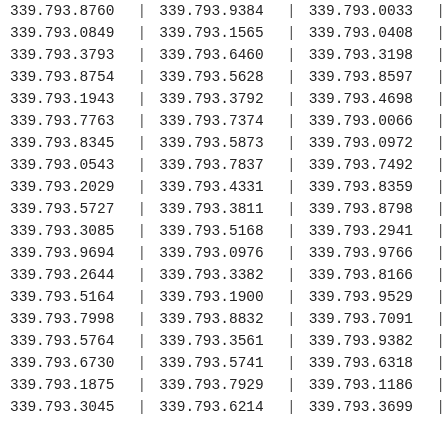| col1 | sep1 | col2 | sep2 | col3 | sep3 |
| --- | --- | --- | --- | --- | --- |
| 339.793.8760 | | | 339.793.9384 | | | 339.793.0033 | | |
| 339.793.0849 | | | 339.793.1565 | | | 339.793.0408 | | |
| 339.793.3793 | | | 339.793.6460 | | | 339.793.3198 | | |
| 339.793.8754 | | | 339.793.5628 | | | 339.793.8597 | | |
| 339.793.1943 | | | 339.793.3792 | | | 339.793.4698 | | |
| 339.793.7763 | | | 339.793.7374 | | | 339.793.0066 | | |
| 339.793.8345 | | | 339.793.5873 | | | 339.793.0972 | | |
| 339.793.0543 | | | 339.793.7837 | | | 339.793.7492 | | |
| 339.793.2029 | | | 339.793.4331 | | | 339.793.8359 | | |
| 339.793.5727 | | | 339.793.3811 | | | 339.793.8798 | | |
| 339.793.3085 | | | 339.793.5168 | | | 339.793.2941 | | |
| 339.793.9694 | | | 339.793.0976 | | | 339.793.9766 | | |
| 339.793.2644 | | | 339.793.3382 | | | 339.793.8166 | | |
| 339.793.5164 | | | 339.793.1900 | | | 339.793.9529 | | |
| 339.793.7998 | | | 339.793.8832 | | | 339.793.7091 | | |
| 339.793.5764 | | | 339.793.3561 | | | 339.793.9382 | | |
| 339.793.6730 | | | 339.793.5741 | | | 339.793.6318 | | |
| 339.793.1875 | | | 339.793.7929 | | | 339.793.1186 | | |
| 339.793.3045 | | | 339.793.6214 | | | 339.793.3699 | | |